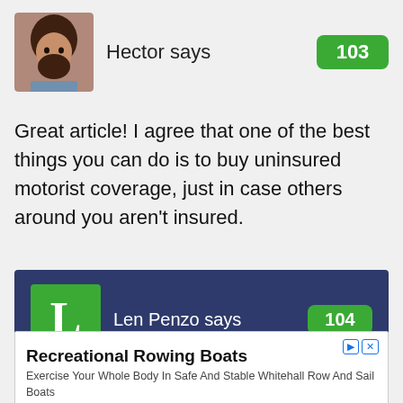[Figure (photo): Avatar photo of Hector, a man with long dark hair and beard]
Hector says
103
Great article! I agree that one of the best things you can do is to buy uninsured motorist coverage, just in case others around you aren't insured.
[Figure (logo): Len Penzo logo — green square with white letter L]
Len Penzo says
104
Say ... are you related to Max? (see his comment above.)
Recreational Rowing Boats
Exercise Your Whole Body In Safe And Stable Whitehall Row And Sail Boats
whitehallrow.com
Learn More